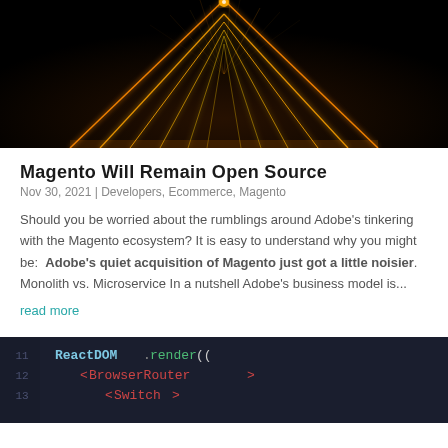[Figure (photo): Dark triangular/pyramid shape with glowing orange neon lines forming a triangle against a black background with sparks]
Magento Will Remain Open Source
Nov 30, 2021 | Developers, Ecommerce, Magento
Should you be worried about the rumblings around Adobe's tinkering with the Magento ecosystem? It is easy to understand why you might be: Adobe's quiet acquisition of Magento just got a little noisier. Monolith vs. Microservice In a nutshell Adobe's business model is...
read more
[Figure (screenshot): Code editor screenshot showing ReactDOM.render(( <BrowserRouter> <Switch> in dark theme with colored syntax highlighting]